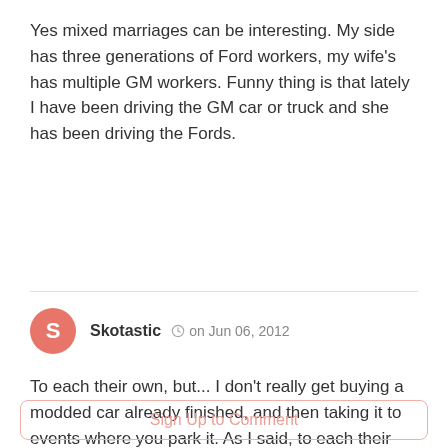Yes mixed marriages can be interesting. My side has three generations of Ford workers, my wife's has multiple GM workers. Funny thing is that lately I have been driving the GM car or truck and she has been driving the Fords.
Skotastic  on Jun 06, 2012
To each their own, but... I don't really get buying a modded car already finished, and then taking it to events where you park it. As I said, to each their own, but I dare say there is a lot more fun in building a classic your way, and then driving the darn thing, but what do I know... btw... Mopar > GM.
Sign Up to Comment